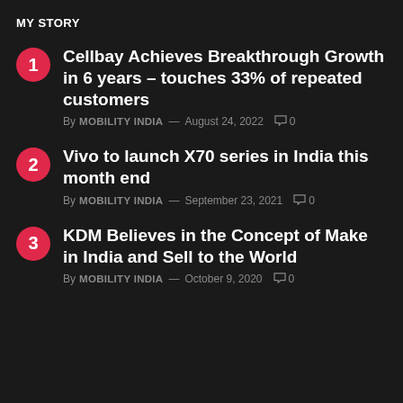MY STORY
Cellbay Achieves Breakthrough Growth in 6 years – touches 33% of repeated customers | By MOBILITY INDIA — August 24, 2022 | 0 comments
Vivo to launch X70 series in India this month end | By MOBILITY INDIA — September 23, 2021 | 0 comments
KDM Believes in the Concept of Make in India and Sell to the World | By MOBILITY INDIA — October 9, 2020 | 0 comments